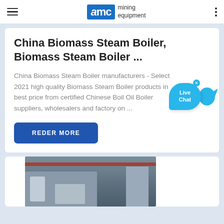AMC mining equipment
China Biomass Steam Boiler, Biomass Steam Boiler ...
China Biomass Steam Boiler manufacturers - Select 2021 high quality Biomass Steam Boiler products in best price from certified Chinese Boil Oil Boiler suppliers, wholesalers and factory on ...
REDER MORE
[Figure (photo): Industrial machinery / boiler equipment photographed outdoors in front of a grey industrial building with a red stripe]